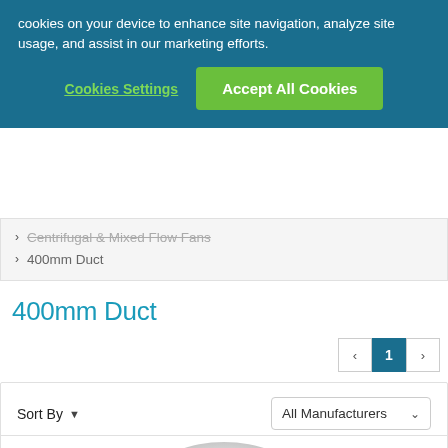cookies on your device to enhance site navigation, analyze site usage, and assist in our marketing efforts.
Cookies Settings
Accept All Cookies
Centrifugal & Mixed Flow Fans
400mm Duct
400mm Duct
1
Sort By
All Manufacturers
[Figure (photo): Product image of a 400mm duct fan, circular grey metallic fan unit viewed from above with a red component visible]